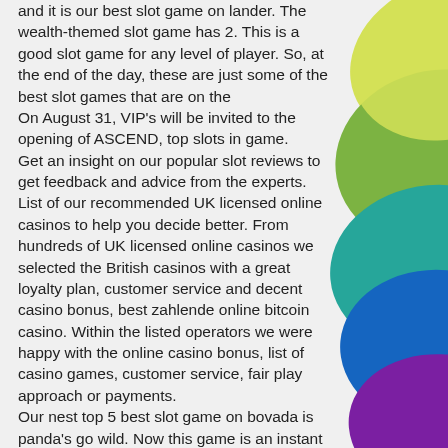and it is our best slot game on lander. The wealth-themed slot game has 2. This is a good slot game for any level of player. So, at the end of the day, these are just some of the best slot games that are on the On August 31, VIP's will be invited to the opening of ASCEND, top slots in game. Get an insight on our popular slot reviews to get feedback and advice from the experts. List of our recommended UK licensed online casinos to help you decide better. From hundreds of UK licensed online casinos we selected the British casinos with a great loyalty plan, customer service and decent casino bonus, best zahlende online bitcoin casino. Within the listed operators we were happy with the online casino bonus, list of casino games, customer service, fair play approach or payments. Our nest top 5 best slot game on bovada is panda's go wild. Now this game is an instant classic with panda's literally everywhere! the
[Figure (illustration): Decorative graphic on the right side showing overlapping leaf/petal shapes in yellow-green, green, teal/blue, medium blue, and purple colors, partially visible as a vertical strip.]